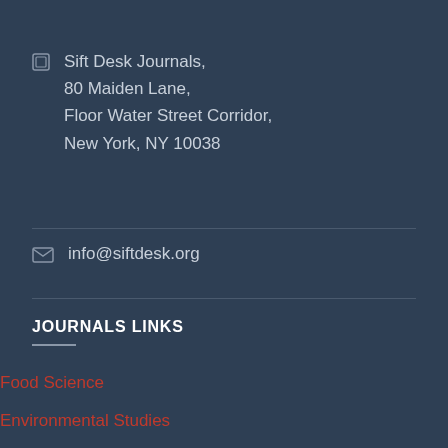Sift Desk Journals, 80 Maiden Lane, Floor Water Street Corridor, New York, NY 10038
info@siftdesk.org
JOURNALS LINKS
Food Science
Environmental Studies
Computational Chemistry